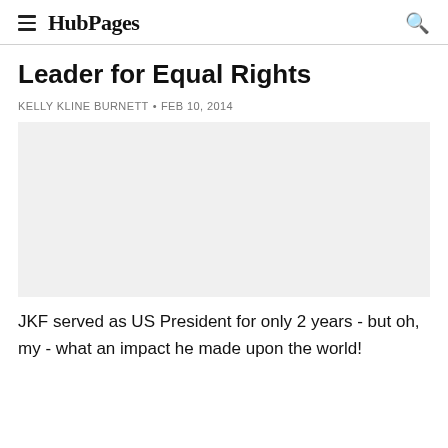HubPages
Leader for Equal Rights
KELLY KLINE BURNETT • FEB 10, 2014
[Figure (photo): Empty image placeholder area]
JKF served as US President for only 2 years - but oh, my - what an impact he made upon the world!